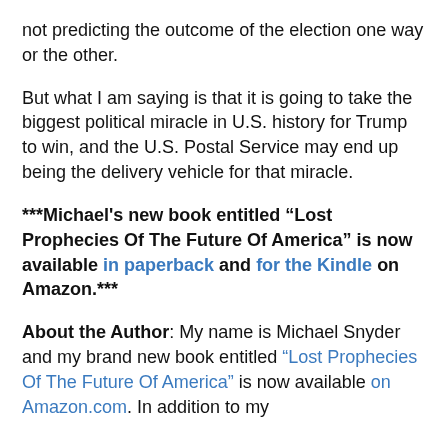not predicting the outcome of the election one way or the other.
But what I am saying is that it is going to take the biggest political miracle in U.S. history for Trump to win, and the U.S. Postal Service may end up being the delivery vehicle for that miracle.
***Michael's new book entitled “Lost Prophecies Of The Future Of America” is now available in paperback and for the Kindle on Amazon.***
About the Author: My name is Michael Snyder and my brand new book entitled “Lost Prophecies Of The Future Of America” is now available on Amazon.com. In addition to my